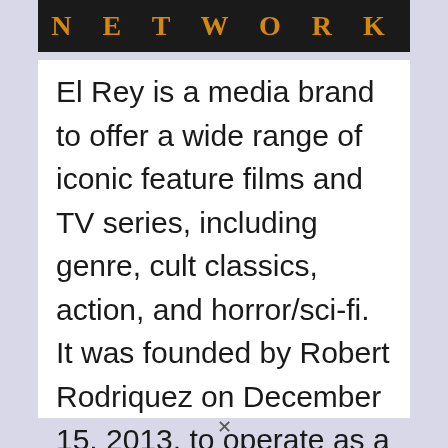[Figure (logo): El Rey Network logo banner — black background with gold/orange bold serif spaced-out text reading NETWORK]
El Rey is a media brand to offer a wide range of iconic feature films and TV series, including genre, cult classics, action, and horror/sci-fi. It was founded by Robert Rodriquez on December 15, 2013, to operate as a television network through cables. El